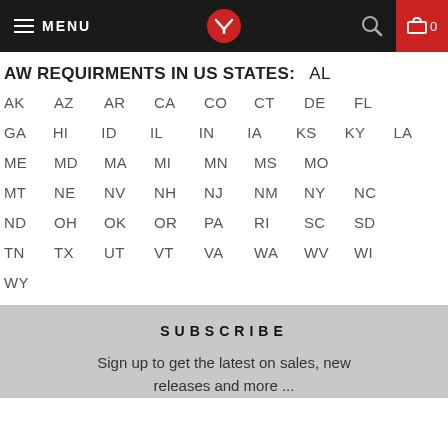MENU  [logo]  [search]  0
AW REQUIRMENTS IN US STATES:   AL
AK  AZ  AR  CA  CO  CT  DE  FL
GA  HI  ID  IL  IN  IA  KS  KY  LA
ME  MD  MA  MI  MN  MS  MO
MT  NE  NV  NH  NJ  NM  NY  NC
ND  OH  OK  OR  PA  RI  SC  SD
TN  TX  UT  VT  VA  WA  WV  WI
WY
SUBSCRIBE
Sign up to get the latest on sales, new releases and more ...